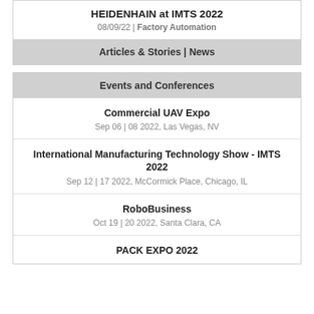HEIDENHAIN at IMTS 2022
08/09/22 | Factory Automation
Articles & Stories | News
Events and Conferences
Commercial UAV Expo
Sep 06 | 08 2022, Las Vegas, NV
International Manufacturing Technology Show - IMTS 2022
Sep 12 | 17 2022, McCormick Place, Chicago, IL
RoboBusiness
Oct 19 | 20 2022, Santa Clara, CA
PACK EXPO 2022